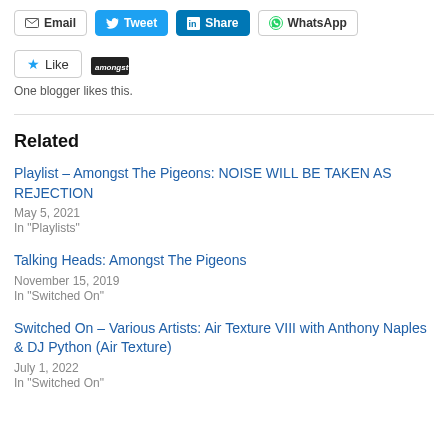[Figure (screenshot): Social share buttons row: Email, Tweet, Share (LinkedIn), WhatsApp]
[Figure (screenshot): Like button with star icon and a small avatar/logo image]
One blogger likes this.
Related
Playlist – Amongst The Pigeons: NOISE WILL BE TAKEN AS REJECTION
May 5, 2021
In "Playlists"
Talking Heads: Amongst The Pigeons
November 15, 2019
In "Switched On"
Switched On – Various Artists: Air Texture VIII with Anthony Naples & DJ Python (Air Texture)
July 1, 2022
In "Switched On"